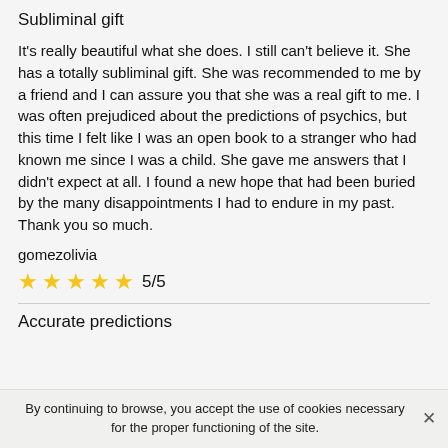Subliminal gift
It's really beautiful what she does. I still can't believe it. She has a totally subliminal gift. She was recommended to me by a friend and I can assure you that she was a real gift to me. I was often prejudiced about the predictions of psychics, but this time I felt like I was an open book to a stranger who had known me since I was a child. She gave me answers that I didn't expect at all. I found a new hope that had been buried by the many disappointments I had to endure in my past. Thank you so much.
gomezolivia
★★★★★ 5/5
Accurate predictions
By continuing to browse, you accept the use of cookies necessary for the proper functioning of the site.